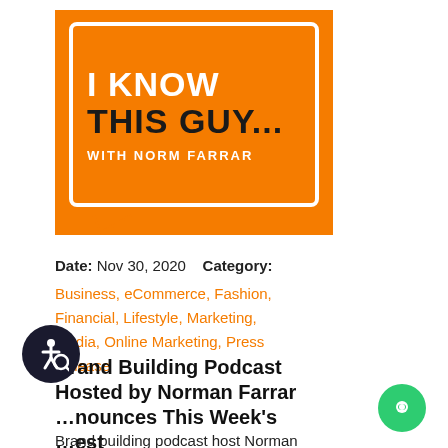[Figure (logo): I Know This Guy podcast logo with Norm Farrar on orange background with speech bubble design]
Date: Nov 30, 2020    Category:
Business, eCommerce, Fashion, Financial, Lifestyle, Marketing, Media, Online Marketing, Press Release
Brand Building Podcast Hosted by Norman Farrar Announces This Week's Guest
Brand building podcast host Norman